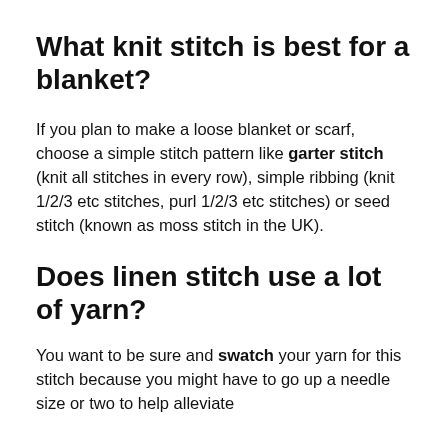What knit stitch is best for a blanket?
If you plan to make a loose blanket or scarf, choose a simple stitch pattern like garter stitch (knit all stitches in every row), simple ribbing (knit 1/2/3 etc stitches, purl 1/2/3 etc stitches) or seed stitch (known as moss stitch in the UK).
Does linen stitch use a lot of yarn?
You want to be sure and swatch your yarn for this stitch because you might have to go up a needle size or two to help alleviate